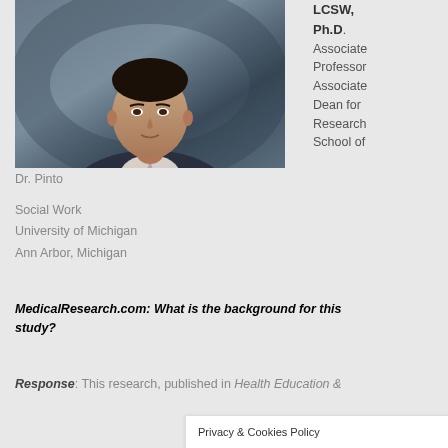[Figure (photo): Professional headshot of Dr. Pinto, a man in a dark suit with a light purple tie, against a blue-grey background]
LCSW, Ph.D. Associate Professor Associate Dean for Research School of
Dr. Pinto
Social Work
University of Michigan
Ann Arbor, Michigan
MedicalResearch.com: What is the background for this study?
Response: This research, published in Health Education & Behavior...
Privacy & Cookies Policy